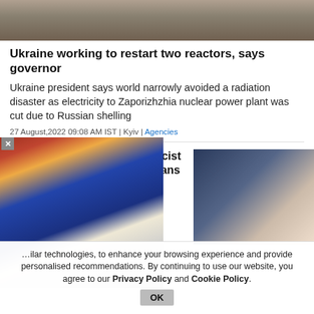[Figure (photo): Top photo strip showing a grey/brown industrial or outdoor scene]
Ukraine working to restart two reactors, says governor
Ukraine president says world narrowly avoided a radiation disaster as electricity to Zaporizhzhia nuclear power plant was cut due to Russian shelling
27 August,2022 09:08 AM IST | Kyiv | Agencies
Texas woman arrested for racist abuse on four Indian Americans
[Figure (photo): Photo showing two people, one in dark clothing and one in white, from waist down]
[Figure (photo): Overlaid popup photo of a man in a red cap and blue vest with white shirt, gesturing]
…milar technologies, to enhance your browsing experience and provide personalised recommendations. By continuing to use our website, you agree to our Privacy Policy and Cookie Policy.